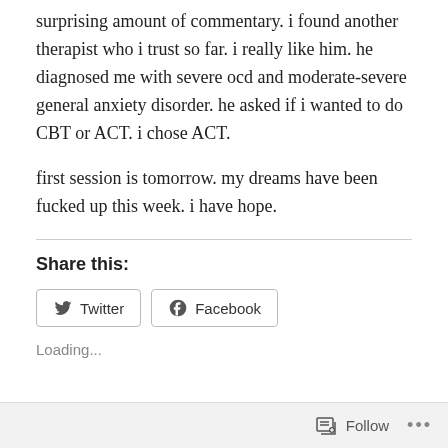surprising amount of commentary. i found another therapist who i trust so far. i really like him. he diagnosed me with severe ocd and moderate-severe general anxiety disorder. he asked if i wanted to do CBT or ACT. i chose ACT.
first session is tomorrow. my dreams have been fucked up this week. i have hope.
Share this:
Loading...
Follow ...